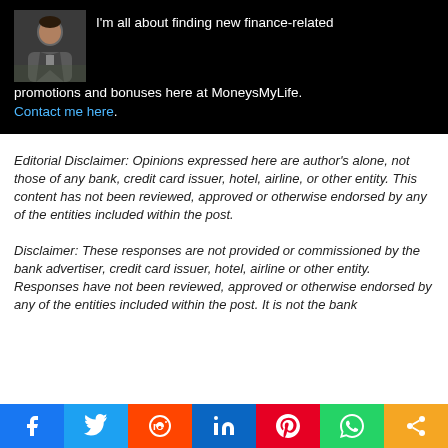[Figure (photo): Author bio box with dark background, photo of person in suit on left, text on right and below reading: I'm all about finding new finance-related promotions and bonuses here at MoneysMyLife. Contact me here.]
Editorial Disclaimer: Opinions expressed here are author's alone, not those of any bank, credit card issuer, hotel, airline, or other entity. This content has not been reviewed, approved or otherwise endorsed by any of the entities included within the post.
Disclaimer: These responses are not provided or commissioned by the bank advertiser, credit card issuer, hotel, airline or other entity. Responses have not been reviewed, approved or otherwise endorsed by any of the entities included within the post. It is not the bank
[Figure (infographic): Social share bar with buttons for Facebook, Twitter, Reddit, LinkedIn, Pinterest, WhatsApp, and Share (more)]